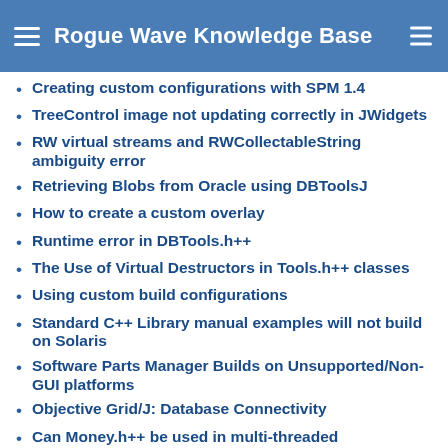Rogue Wave Knowledge Base
Creating custom configurations with SPM 1.4
TreeControl image not updating correctly in JWidgets
RW virtual streams and RWCollectableString ambiguity error
Retrieving Blobs from Oracle using DBToolsJ
How to create a custom overlay
Runtime error in DBTools.h++
The Use of Virtual Destructors in Tools.h++ classes
Using custom build configurations
Standard C++ Library manual examples will not build on Solaris
Software Parts Manager Builds on Unsupported/Non-GUI platforms
Objective Grid/J: Database Connectivity
Can Money.h++ be used in multi-threaded applications?
Catching exceptions from the inet module in Tools.h++ Professional
The StockCursor SizeCursor is not working in zApp
Installation of StudioJ on Unix or Mac
How can I print charts from Chart.J?
Failure building Standard C++ Library with aCC 3.25
Core dumps described in the Tools.h++ Professional readme document
How do I add a subject header to my SMTP application?
The addSubItem() method causes the Tree application or applet to freeze at runtime
RWMutexLock Recursive Acquisition error in Debug - Not True! - Threads 2.0.1 only